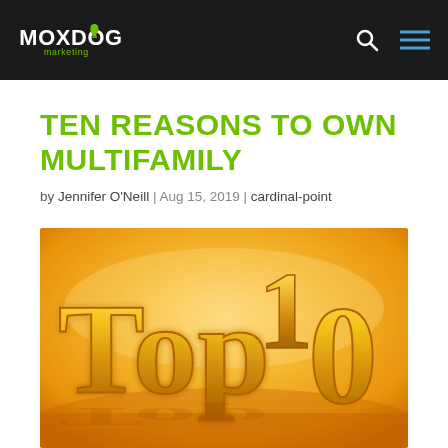Moxdog Marketing
TEN REASONS TO OWN MULTIFAMILY
by Jennifer O'Neill | Aug 15, 2019 | cardinal-point
[Figure (photo): Golden 3D 'Top 10' text on a warm glowing background]